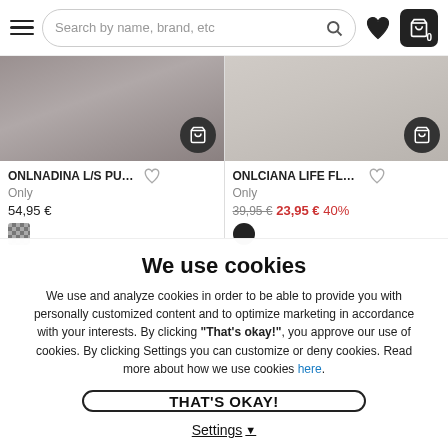Search by name, brand, etc
[Figure (screenshot): Product listing showing two clothing items: ONLNADINA L/S PUFF... by Only at 54,95€ and ONLCIANA LIFE FLARE... by Only at 39,95€ sale price 23,95€ 40% off]
We use cookies
We use and analyze cookies in order to be able to provide you with personally customized content and to optimize marketing in accordance with your interests. By clicking "That's okay!", you approve our use of cookies. By clicking Settings you can customize or deny cookies. Read more about how we use cookies here.
THAT'S OKAY!
Settings ▾